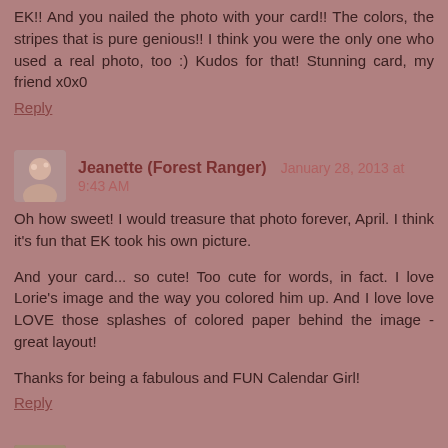EK!! And you nailed the photo with your card!! The colors, the stripes that is pure genious!! I think you were the only one who used a real photo, too :) Kudos for that! Stunning card, my friend x0x0
Reply
Jeanette (Forest Ranger)  January 28, 2013 at 9:43 AM
Oh how sweet! I would treasure that photo forever, April. I think it's fun that EK took his own picture.
And your card... so cute! Too cute for words, in fact. I love Lorie's image and the way you colored him up. And I love love LOVE those splashes of colored paper behind the image - great layout!
Thanks for being a fabulous and FUN Calendar Girl!
Reply
Judy McMullen  January 28, 2013 at 5:16 PM